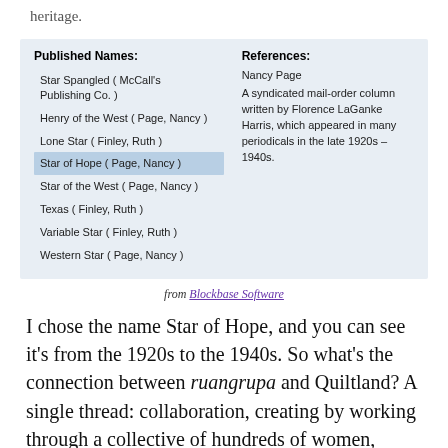heritage.
| Published Names: | References: |
| --- | --- |
| Star Spangled ( McCall's Publishing Co. ) | Nancy Page |
| Henry of the West ( Page, Nancy ) | A syndicated mail-order column written by Florence LaGanke Harris, which appeared in many periodicals in the late 1920s – 1940s. |
| Lone Star ( Finley, Ruth ) |  |
| Star of Hope ( Page, Nancy ) |  |
| Star of the West ( Page, Nancy ) |  |
| Texas ( Finley, Ruth ) |  |
| Variable Star ( Finley, Ruth ) |  |
| Western Star ( Page, Nancy ) |  |
from Blockbase Software
I chose the name Star of Hope, and you can see it's from the 1920s to the 1940s. So what's the connection between ruangrupa and Quiltland? A single thread: collaboration, creating by working through a collective of hundreds of women, some here now, some alive in the 1940s and some stitching in the 1800s. They are our ruangrupa, and we honor them and our quilting